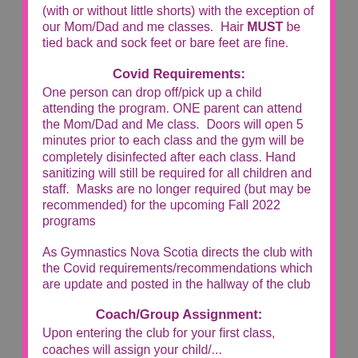(with or without little shorts) with the exception of our Mom/Dad and me classes.  Hair MUST be tied back and sock feet or bare feet are fine.
Covid Requirements:
One person can drop off/pick up a child attending the program. ONE parent can attend the Mom/Dad and Me class.  Doors will open 5 minutes prior to each class and the gym will be completely disinfected after each class. Hand sanitizing will still be required for all children and staff.  Masks are no longer required (but may be recommended) for the upcoming Fall 2022 programs
As Gymnastics Nova Scotia directs the club with the Covid requirements/recommendations which are update and posted in the hallway of the club
Coach/Group Assignment:
Upon entering the club for your first class, coaches will assign your child/...